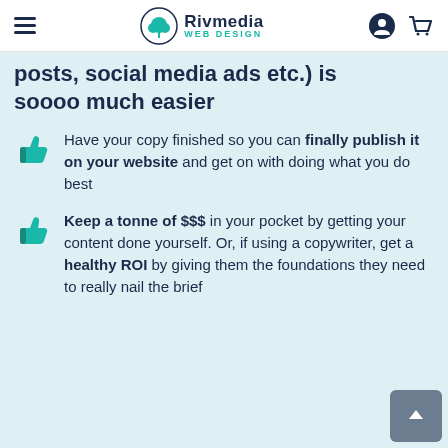Rivmedia WEB DESIGN
posts, social media ads etc.) is soooo much easier
Have your copy finished so you can finally publish it on your website and get on with doing what you do best
Keep a tonne of $$$ in your pocket by getting your content done yourself. Or, if using a copywriter, get a healthy ROI by giving them the foundations they need to really nail the brief
N...